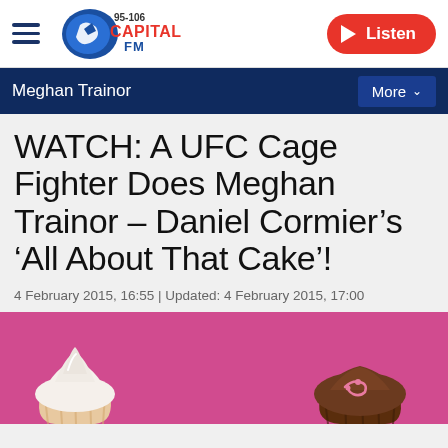[Figure (logo): Capital FM 95-106 radio station logo with blue microphone graphic and hamburger menu icon on the left, and a red Listen button on the right]
Meghan Trainor
WATCH: A UFC Cage Fighter Does Meghan Trainor – Daniel Cormier's 'All About That Cake'!
4 February 2015, 16:55 | Updated: 4 February 2015, 17:00
[Figure (photo): Close-up photo of cupcakes on a pink background — a vanilla cupcake with white frosting on the left and a chocolate cupcake on the right]